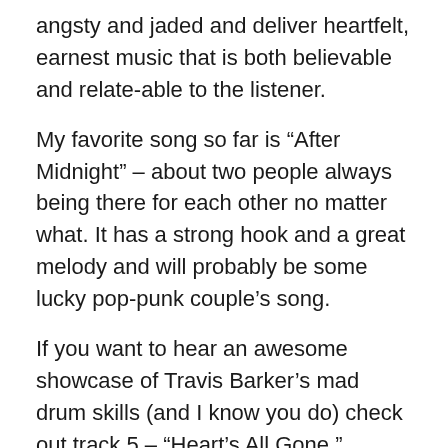angsty and jaded and deliver heartfelt, earnest music that is both believable and relate-able to the listener.
My favorite song so far is “After Midnight” – about two people always being there for each other no matter what. It has a strong hook and a great melody and will probably be some lucky pop-punk couple’s song.
If you want to hear an awesome showcase of Travis Barker’s mad drum skills (and I know you do) check out track 5 – “Heart’s All Gone.”
Look, if you have any doubt about whether you want to buy this album or not, just effing do it. The CD delivers all that Blink-182 greatness that you love. You will not be disappointed.
Loser Kids rejoice!